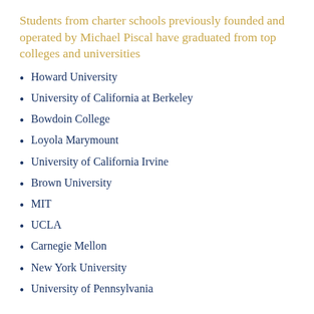Students from charter schools previously founded and operated by Michael Piscal have graduated from top colleges and universities
Howard University
University of California at Berkeley
Bowdoin College
Loyola Marymount
University of California Irvine
Brown University
MIT
UCLA
Carnegie Mellon
New York University
University of Pennsylvania